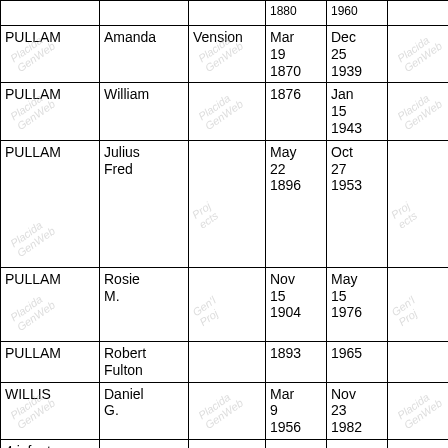| Last Name | First Name | Middle Name | Birth | Death | Col6 | Notes |
| --- | --- | --- | --- | --- | --- | --- |
| PULLAM | Amanda | Vension | Mar 19 1870 | Dec 25 1939 |  |  |
| PULLAM | William |  | 1876 | Jan 15 1943 |  |  |
| PULLAM | Julius Fred |  | May 22 1896 | Oct 27 1953 |  | h/o Rosie M. Pullam |
| PULLAM | Rosie M. |  | Nov 15 1904 | May 15 1976 |  | w/o Julius Fred Pullam |
| PULLAM | Robert Fulton |  | 1893 | 1965 |  |  |
| WILLIS | Daniel G. |  | Mar 9 1956 | Nov 23 1982 |  |  |
| 4 infant graves, |  |  |  |  |  |  |